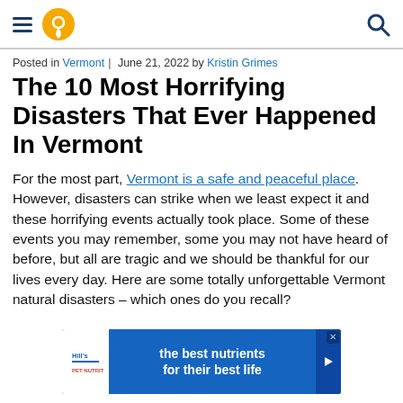Navigation header with hamburger menu, location pin icon, and search icon
Posted in Vermont | June 21, 2022 by Kristin Grimes
The 10 Most Horrifying Disasters That Ever Happened In Vermont
For the most part, Vermont is a safe and peaceful place. However, disasters can strike when we least expect it and these horrifying events actually took place. Some of these events you may remember, some you may not have heard of before, but all are tragic and we should be thankful for our lives every day. Here are some totally unforgettable Vermont natural disasters – which ones do you recall?
[Figure (other): Hill's Pet Nutrition advertisement banner: blue background with Hill's logo on white square, text 'the best nutrients for their best life', play button arrow on right]